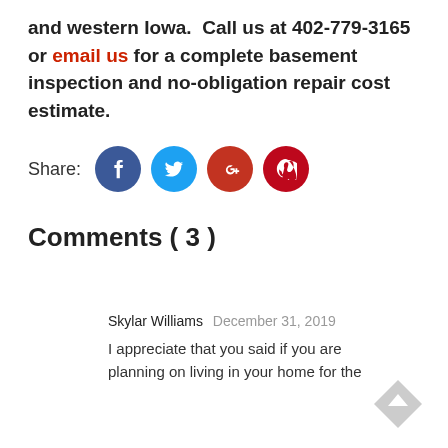and western Iowa.  Call us at 402-779-3165 or email us for a complete basement inspection and no-obligation repair cost estimate.
[Figure (infographic): Share row with Facebook, Twitter, Google+, and Pinterest social media icon buttons]
Comments ( 3 )
Skylar Williams  December 31, 2019
I appreciate that you said if you are planning on living in your home for the